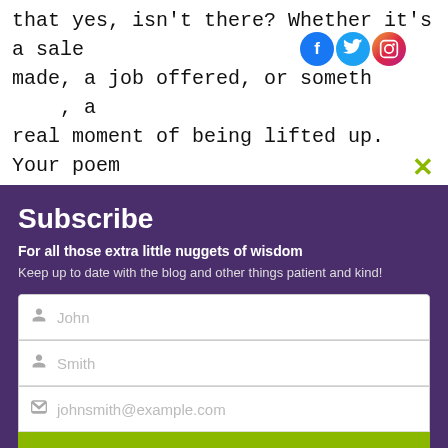that yes, isn't there? Whether it's a sale made, a job offered, or something else, a real moment of being lifted up. Your poem captures that well.
[Figure (screenshot): Subscribe modal overlay on a blog page with fields for first name (John), last name (Smith), email (johnsmith@example.com), and a green Submit button. Purple background. Social media icons (Facebook, Twitter, Instagram) visible at top. Below is a DuckDuckGo advertisement banner.]